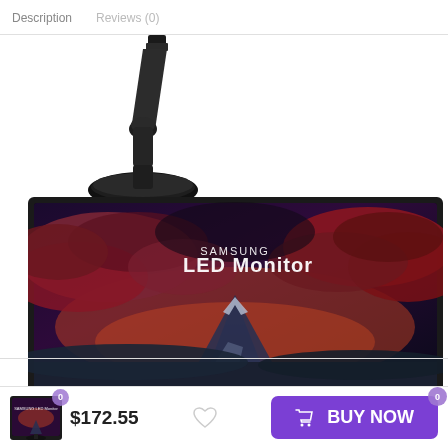Description   Reviews (0)
[Figure (photo): Samsung monitor stand — black angled stand with round oval base, shown in isolation on white background]
[Figure (photo): Samsung LED Monitor — close-up of a widescreen monitor displaying a mountain landscape with dramatic red and purple sky. Text on screen reads 'SAMSUNG LED Monitor']
$172.55
BUY NOW